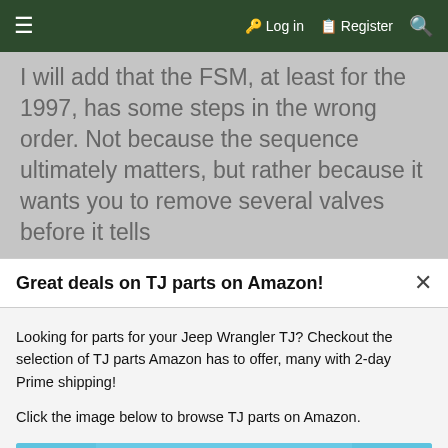≡   🔑 Log in   🗒 Register   🔍
I will add that the FSM, at least for the 1997, has some steps in the wrong order. Not because the sequence ultimately matters, but rather because it wants you to remove several valves before it tells
Great deals on TJ parts on Amazon!
Looking for parts for your Jeep Wrangler TJ? Checkout the selection of TJ parts Amazon has to offer, many with 2-day Prime shipping!
Click the image below to browse TJ parts on Amazon.
[Figure (illustration): Amazon advertisement banner showing a Jeep Wrangler TJ with text: SHOP ON AMAZON FOR GREAT DEALS ON TJ PARTS. Yellow starburst with CLICK HERE TO SHOP ON AMAZON text.]